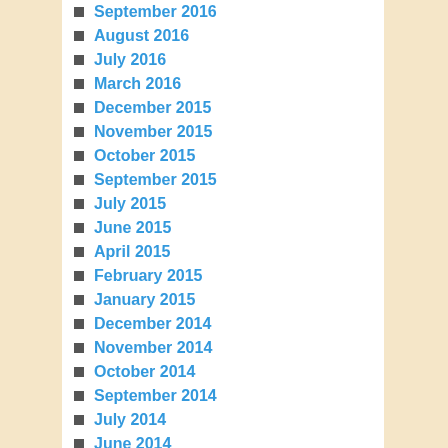September 2016
August 2016
July 2016
March 2016
December 2015
November 2015
October 2015
September 2015
July 2015
June 2015
April 2015
February 2015
January 2015
December 2014
November 2014
October 2014
September 2014
July 2014
June 2014
January 2014
December 2013
November 2013